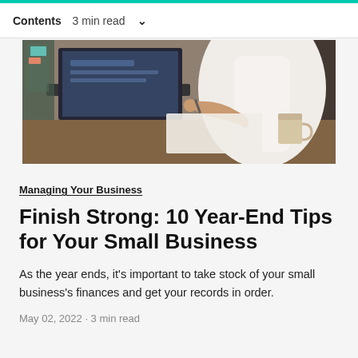Contents  3 min read  ∨
[Figure (photo): Woman in white shirt working at a desk with a laptop, holding a pen over a document, with a coffee mug nearby]
Managing Your Business
Finish Strong: 10 Year-End Tips for Your Small Business
As the year ends, it's important to take stock of your small business's finances and get your records in order.
May 02, 2022 · 3 min read